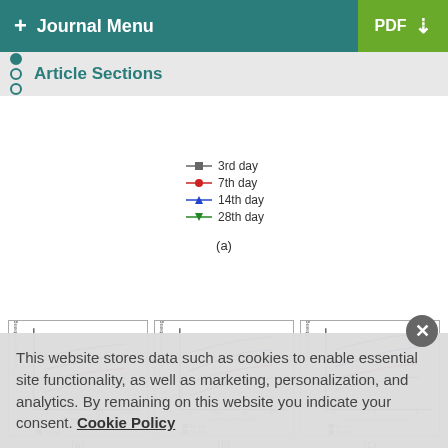+ Journal Menu | PDF
Article Sections
[Figure (line-chart): Line chart with legend showing 3rd day (gray square), 7th day (red circle), 14th day (blue triangle), 28th day (green inverted triangle)]
[Figure (line-chart): Small line chart sub-figure (a) - Compressive strength vs. water-cement ratio]
[Figure (line-chart): Small line chart sub-figure (b) - Compressive strength vs. cement content]
[Figure (line-chart): Small line chart sub-figure (c) - Compressive strength vs. content of sodium silicate]
(a)
(b)
(c)
This website stores data such as cookies to enable essential site functionality, as well as marketing, personalization, and analytics. By remaining on this website you indicate your consent. Cookie Policy